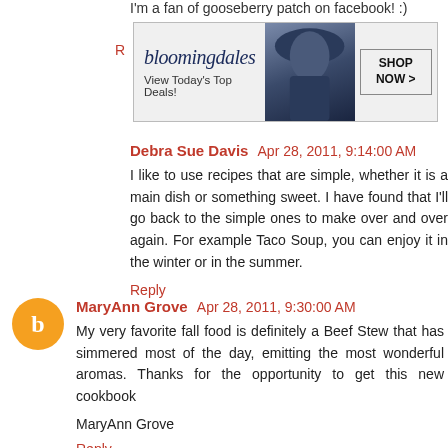I'm a fan of gooseberry patch on facebook! :)
[Figure (other): Bloomingdale's advertisement banner with text 'View Today's Top Deals!' and 'SHOP NOW >' button, featuring image of woman in hat]
Debra Sue Davis  Apr 28, 2011, 9:14:00 AM
I like to use recipes that are simple, whether it is a main dish or something sweet. I have found that I'll go back to the simple ones to make over and over again. For example Taco Soup, you can enjoy it in the winter or in the summer.
Reply
MaryAnn Grove  Apr 28, 2011, 9:30:00 AM
My very favorite fall food is definitely a Beef Stew that has simmered most of the day, emitting the most wonderful aromas. Thanks for the opportunity to get this new cookbook
MaryAnn Grove
Reply